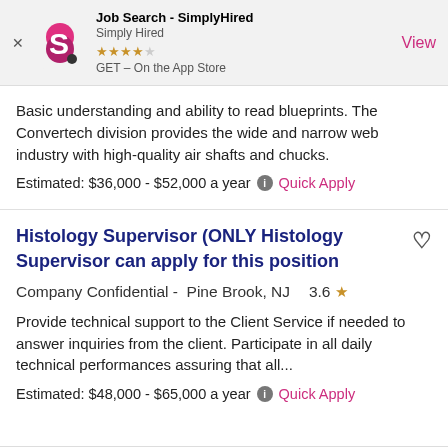[Figure (screenshot): App Store banner for Job Search - SimplyHired app with logo, star rating, and View button]
Basic understanding and ability to read blueprints. The Convertech division provides the wide and narrow web industry with high-quality air shafts and chucks.
Estimated: $36,000 - $52,000 a year  Quick Apply
Histology Supervisor (ONLY Histology Supervisor can apply for this position
Company Confidential -  Pine Brook, NJ     3.6 ★
Provide technical support to the Client Service if needed to answer inquiries from the client. Participate in all daily technical performances assuring that all...
Estimated: $48,000 - $65,000 a year  Quick Apply